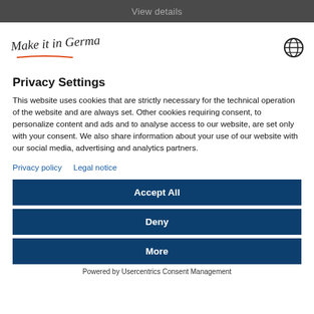View details
[Figure (logo): Make it in Germany handwritten logo with globe icon]
Privacy Settings
This website uses cookies that are strictly necessary for the technical operation of the website and are always set. Other cookies requiring consent, to personalize content and ads and to analyse access to our website, are set only with your consent. We also share information about your use of our website with our social media, advertising and analytics partners.
Privacy policy   Legal notice
Accept All
Deny
More
Powered by Usercentrics Consent Management